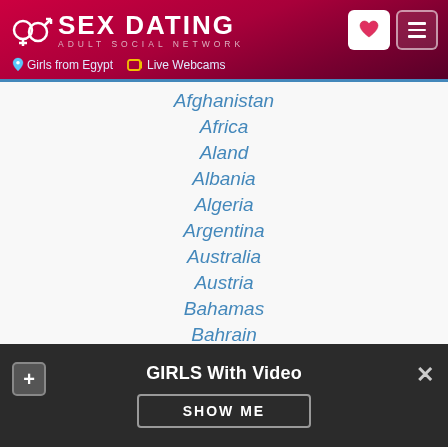SEX DATING ADULT SOCIAL NETWORK | Girls from Egypt | Live Webcams
Afghanistan
Africa
Aland
Albania
Algeria
Argentina
Australia
Austria
Bahamas
Bahrain
Bangladesh
Belgium
GIRLS With Video
SHOW ME